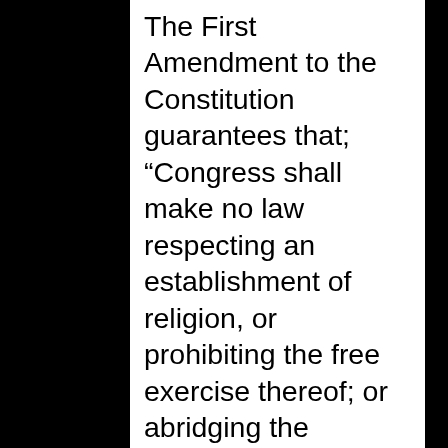The First Amendment to the Constitution guarantees that; “Congress shall make no law respecting an establishment of religion, or prohibiting the free exercise thereof; or abridging the freedom of speech, or of the press; or the right of the people peaceably to assemble